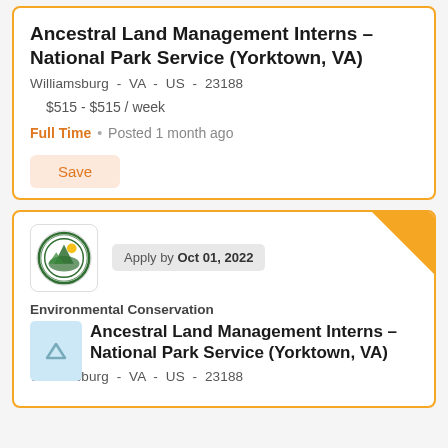Ancestral Land Management Interns – National Park Service (Yorktown, VA)
Williamsburg  -  VA  -  US  -  23188
$515 - $515 / week
Full Time  •  Posted 1 month ago
Save
Apply by Oct 01, 2022
Environmental Conservation
Ancestral Land Management Interns – National Park Service (Yorktown, VA)
Williamsburg  -  VA  -  US  -  23188